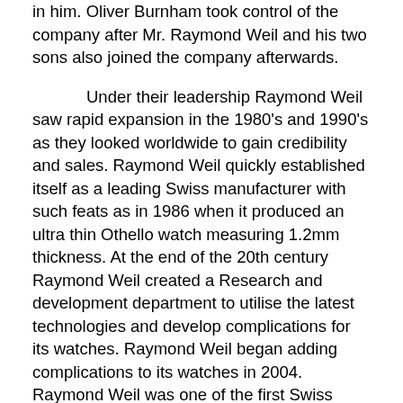in him. Oliver Burnham took control of the company after Mr. Raymond Weil and his two sons also joined the company afterwards.
Under their leadership Raymond Weil saw rapid expansion in the 1980's and 1990's as they looked worldwide to gain credibility and sales. Raymond Weil quickly established itself as a leading Swiss manufacturer with such feats as in 1986 when it produced an ultra thin Othello watch measuring 1.2mm thickness. At the end of the 20th century Raymond Weil created a Research and development department to utilise the latest technologies and develop complications for its watches. Raymond Weil began adding complications to its watches in 2004. Raymond Weil was one of the first Swiss watch brands to capitalise on new channels to reach consumers such as social media and in 2006 they created the Raymond Weil Club for fans and Raymond Weil watch owners. In this year they also made new innovations in their watch making such as including carbon fibre in their watches, particularly the Nabucco for the first time.
Raymond Weil has carved itself a unique position within